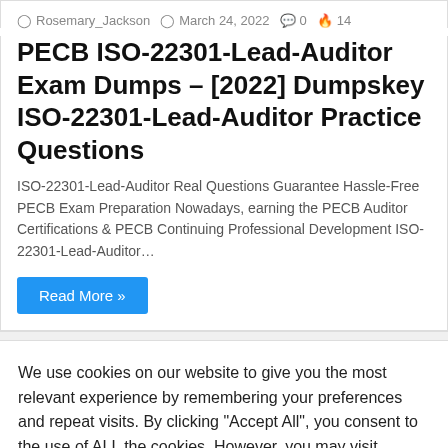Rosemary_Jackson  March 24, 2022  0  14
PECB ISO-22301-Lead-Auditor Exam Dumps – [2022] Dumpskey ISO-22301-Lead-Auditor Practice Questions
ISO-22301-Lead-Auditor Real Questions Guarantee Hassle-Free PECB Exam Preparation Nowadays, earning the PECB Auditor Certifications & PECB Continuing Professional Development ISO-22301-Lead-Auditor…
Read More »
We use cookies on our website to give you the most relevant experience by remembering your preferences and repeat visits. By clicking "Accept All", you consent to the use of ALL the cookies. However, you may visit "Cookie Settings" to provide a controlled consent.
Cookie Settings  Accept All